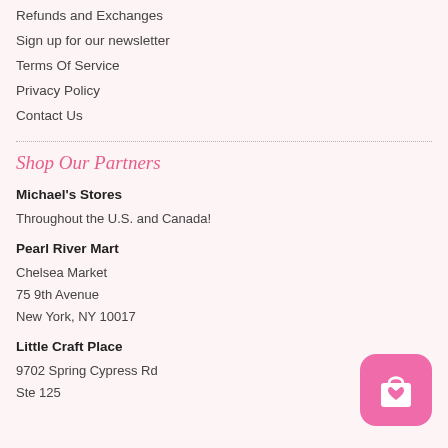Refunds and Exchanges
Sign up for our newsletter
Terms Of Service
Privacy Policy
Contact Us
Shop Our Partners
Michael's Stores
Throughout the U.S. and Canada!
Pearl River Mart
Chelsea Market
75 9th Avenue
New York, NY 10017
Little Craft Place
9702 Spring Cypress Rd
Ste 125
[Figure (illustration): Pink rounded-square icon with a shopping bag and a heart symbol]